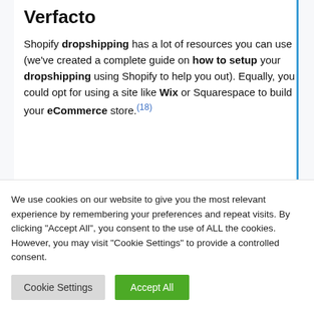Verfacto
Shopify dropshipping has a lot of resources you can use (we've created a complete guide on how to setup your dropshipping using Shopify to help you out). Equally, you could opt for using a site like Wix or Squarespace to build your eCommerce store.(18)
We use cookies on our website to give you the most relevant experience by remembering your preferences and repeat visits. By clicking "Accept All", you consent to the use of ALL the cookies. However, you may visit "Cookie Settings" to provide a controlled consent.